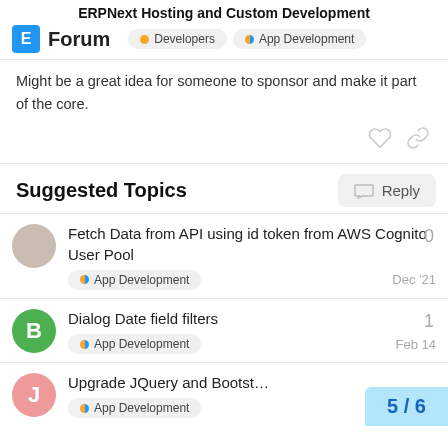ERPNext Hosting and Custom Development
Might be a great idea for someone to sponsor and make it part of the core.
Suggested Topics
Fetch Data from API using id token from AWS Cognito User Pool — App Development — Dec '21 — 0 replies
Dialog Date field filters — App Development — Feb 14 — 1 reply
Upgrade JQuery and Bootst… — App Development — 5/6